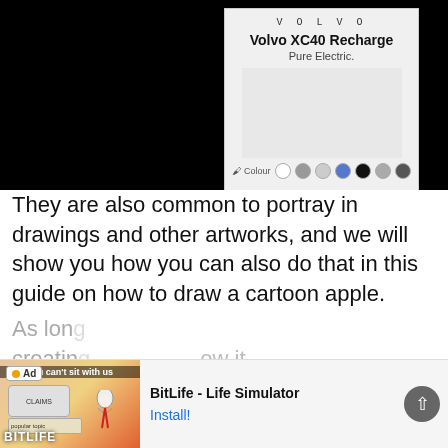[Figure (screenshot): Volvo XC40 Recharge advertisement card showing brand name VOLVO, model name, Pure Electric subtitle, a gray car image area, and colour selection dots. Displayed on a black background.]
They are also common to portray in drawings and other artworks, and we will show you how you can also do that in this guide on how to draw a cartoon apple.
By the end of the six steps in this tutorial, you will see that drawing a cartoon apple can be not only easy but also loads of fun!
As long...
creating...
[Figure (screenshot): BitLife - Life Simulator app advertisement banner with Ad badge, game image, app name and Install button.]